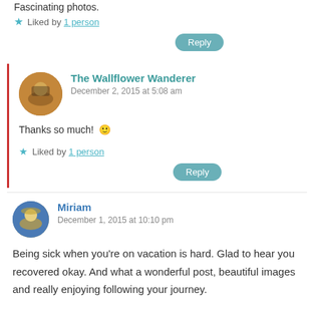Fascinating photos.
Liked by 1 person
Reply
The Wallflower Wanderer
December 2, 2015 at 5:08 am
Thanks so much! 🙂
Liked by 1 person
Reply
Miriam
December 1, 2015 at 10:10 pm
Being sick when you're on vacation is hard. Glad to hear you recovered okay. And what a wonderful post, beautiful images and really enjoying following your journey.